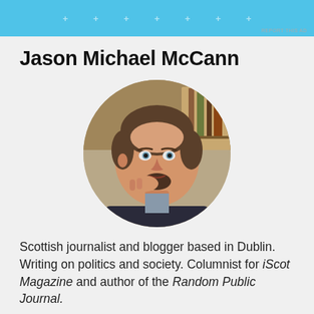[Figure (other): Light blue advertisement banner with small white plus/cross symbols arranged in a row]
Jason Michael McCann
[Figure (photo): Circular profile photo of Jason Michael McCann, a man with short brown hair and a goatee, resting his chin on his hand, wearing a dark jacket, with bookshelves visible in the background]
Scottish journalist and blogger based in Dublin. Writing on politics and society. Columnist for iScot Magazine and author of the Random Public Journal.